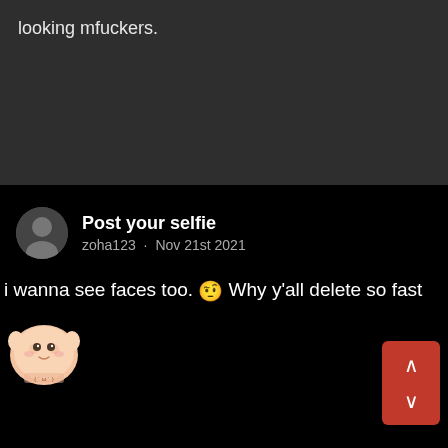looking mfuckers.
Post your selfie
zoha123 · Nov 21st 2021
i wanna see faces too. 🤨 Why y'all delete so fast
[Figure (illustration): Cute cartoon sticker of a round character]
This site uses cookies. By continuing to browse this site, you are agreeing to our use of cookies.
More Details   Close